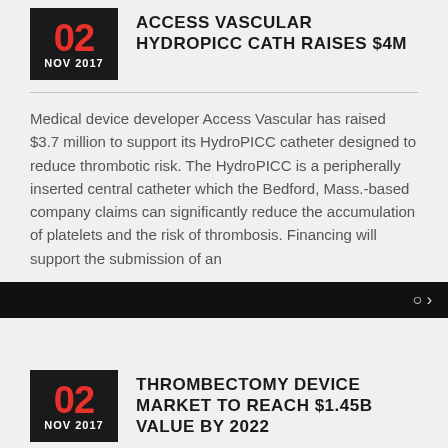ACCESS VASCULAR HYDROPICC CATH RAISES $4M
Medical device developer Access Vascular has raised $3.7 million to support its HydroPICC catheter designed to reduce thrombotic risk. The HydroPICC is a peripherally inserted central catheter which the Bedford, Mass.-based company claims can significantly reduce the accumulation of platelets and the risk of thrombosis. Financing will support the submission of an
THROMBECTOMY DEVICE MARKET TO REACH $1.45B VALUE BY 2022